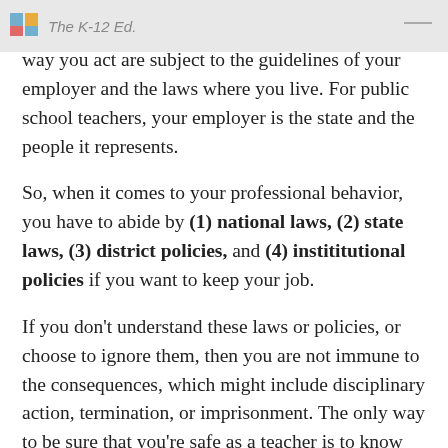The K-12 Ed.
answer to an employer, the way you teach and the way you act are subject to the guidelines of your employer and the laws where you live. For public school teachers, your employer is the state and the people it represents.
So, when it comes to your professional behavior, you have to abide by (1) national laws, (2) state laws, (3) district policies, and (4) instititutional policies if you want to keep your job.
If you don't understand these laws or policies, or choose to ignore them, then you are not immune to the consequences, which might include disciplinary action, termination, or imprisonment. The only way to be sure that you're safe as a teacher is to know what the laws and policies